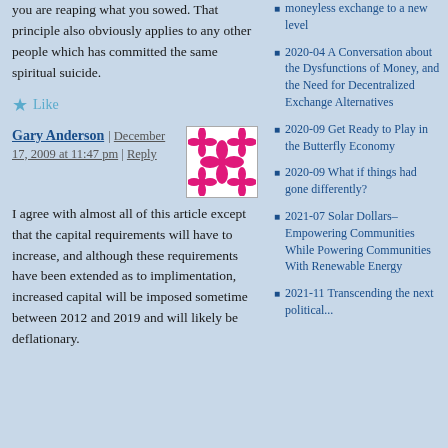you are reaping what you sowed. That principle also obviously applies to any other people which has committed the same spiritual suicide.
Like
Gary Anderson | December 17, 2009 at 11:47 pm | Reply
I agree with almost all of this article except that the capital requirements will have to increase, and although these requirements have been extended as to implimentation, increased capital will be imposed sometime between 2012 and 2019 and will likely be deflationary.
moneyless exchange to a new level
2020-04 A Conversation about the Dysfunctions of Money, and the Need for Decentralized Exchange Alternatives
2020-09 Get Ready to Play in the Butterfly Economy
2020-09 What if things had gone differently?
2021-07 Solar Dollars–Empowering Communities While Powering Communities With Renewable Energy
2021-11 Transcending the next political...